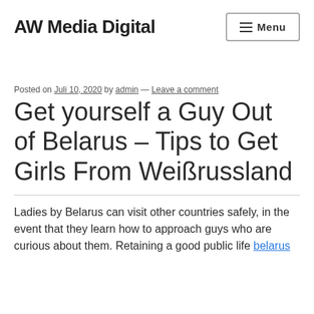AW Media Digital
Posted on Juli 10, 2020 by admin — Leave a comment
Get yourself a Guy Out of Belarus – Tips to Get Girls From Weißrussland
Ladies by Belarus can visit other countries safely, in the event that they learn how to approach guys who are curious about them. Retaining a good public life belarus